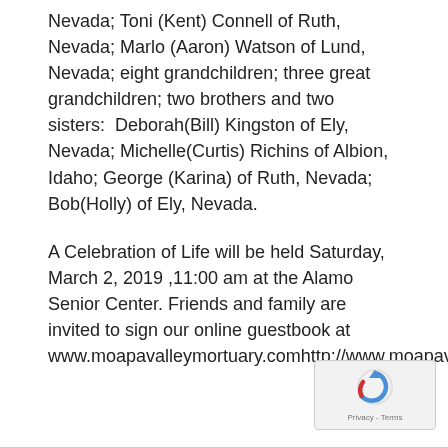Nevada; Toni (Kent) Connell of Ruth, Nevada; Marlo (Aaron) Watson of Lund, Nevada; eight grandchildren; three great grandchildren; two brothers and two sisters:  Deborah(Bill) Kingston of Ely, Nevada; Michelle(Curtis) Richins of Albion, Idaho; George (Karina) of Ruth, Nevada; Bob(Holly) of Ely, Nevada.
A Celebration of Life will be held Saturday, March 2, 2019 ,11:00 am at the Alamo Senior Center. Friends and family are invited to sign our online guestbook at www.moapavalleymortuary.comhttp://www.moapavalleymortuary.com
[Figure (other): reCAPTCHA logo and Privacy - Terms footer badge in bottom right corner]